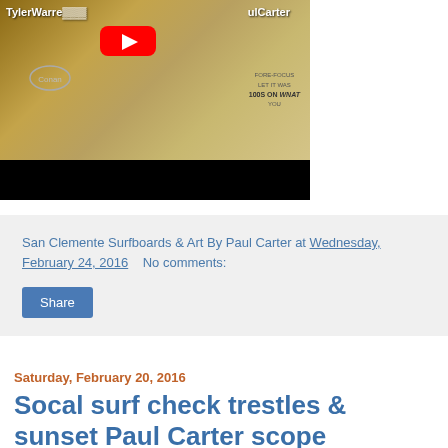[Figure (screenshot): Video thumbnail showing TylerWarren and Paul Carter text overlay on a yellowish/brown background with a YouTube play button logo visible. Bottom portion is a black bar (video player controls area).]
San Clemente Surfboards & Art By Paul Carter at Wednesday, February 24, 2016    No comments:
Share
Saturday, February 20, 2016
Socal surf check trestles & sunset Paul Carter scope
SoCal surf check at trestles and a nice sunset using periscope.
You will hear me commenting on questions from people around the world.